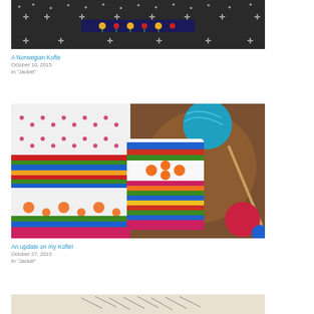[Figure (photo): Close-up of a dark Norwegian Kofte knitting pattern with white snowflakes and colorful floral embroidery band]
A Norwegian Kofte
October 10, 2015
In "Jacket"
[Figure (photo): Colorful knitting work in progress showing fair isle pattern mittens or socks with red, orange, green, blue and yellow yarn on a wooden surface]
An update on my Kofte!
October 27, 2015
In "Jacket"
[Figure (photo): Partial view of another knitting-related image at bottom of page]